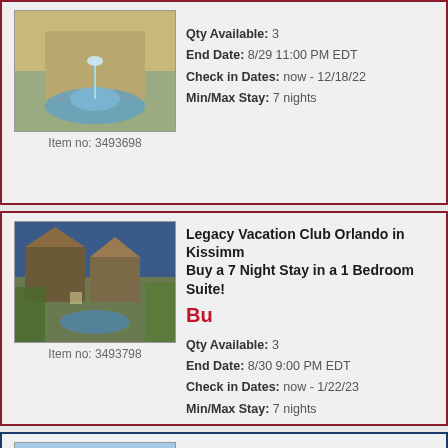[Figure (photo): Resort fountain area with blue sky and palm trees]
Item no: 3493698
Qty Available: 3
End Date: 8/29 11:00 PM EDT
Check in Dates: now - 12/18/22
Min/Max Stay: 7 nights
Legacy Vacation Club Orlando in Kissimmee - Buy a 7 Night Stay in a 1 Bedroom Suite!
[Figure (photo): Resort exterior with palm trees and fountain at sunset]
Item no: 3493798
Qty Available: 3
End Date: 8/30 9:00 PM EDT
Check in Dates: now - 1/22/23
Min/Max Stay: 7 nights
Westgate Vacation Villas - Kissimmee, Florida - Buy a 1 Bedroom Suite Near Disney!
[Figure (photo): Westgate Vacation Villas exterior with palm trees and blue sky]
Item no: 3493976
Qty Available: 1
End Date: 8/29 5:00 PM EDT
Check in Dates: now - 11/13/22
Min/Max Stay: 7 nights